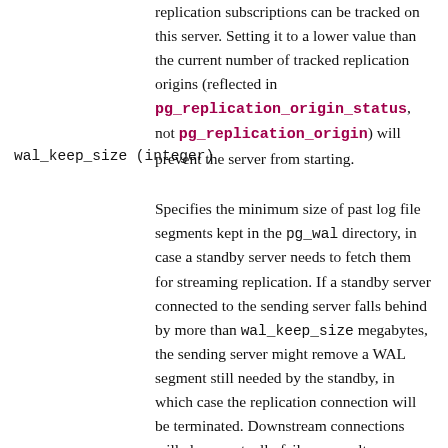replication subscriptions can be tracked on this server. Setting it to a lower value than the current number of tracked replication origins (reflected in pg_replication_origin_status, not pg_replication_origin) will prevent the server from starting.
wal_keep_size (integer)
Specifies the minimum size of past log file segments kept in the pg_wal directory, in case a standby server needs to fetch them for streaming replication. If a standby server connected to the sending server falls behind by more than wal_keep_size megabytes, the sending server might remove a WAL segment still needed by the standby, in which case the replication connection will be terminated. Downstream connections will also eventually fail as a result. (However, the standby server can recover by fetching the segment from archive, if WAL archiving is in use.)